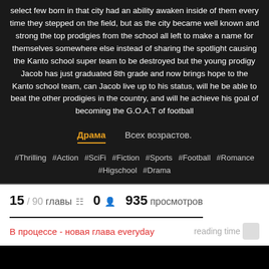select few born in that city had an ability awaken inside of them every time they stepped on the field, but as the city became well known and strong the top prodigies from the school all left to make a name for themselves somewhere else instead of sharing the spotlight causing the Kanto school super team to be destroyed but the young prodigy Jacob has just graduated 8th grade and now brings hope to the Kanto school team, can Jacob live up to his status, will he be able to beat the other prodigies in the country, and will he achieve his goal of becoming the G.O.A.T of football
Драма    Всех возрастов.
#Thrilling  #Action  #SciFi  #Fiction  #Sports  #Football  #Romance  #Higschool  #Drama
15 / 90 главы  0  935 просмотров
В процессе - новая глава everyday    reading time